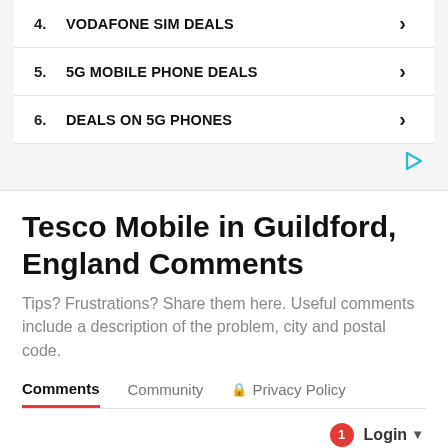4. VODAFONE SIM DEALS
5. 5G MOBILE PHONE DEALS
6. DEALS ON 5G PHONES
Tesco Mobile in Guildford, England Comments
Tips? Frustrations? Share them here. Useful comments include a description of the problem, city and postal code.
Comments  Community  Privacy Policy
Login
Favorite 44  Sort by Newest